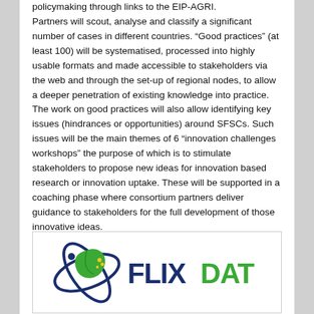policymaking through links to the EIP-AGRI. Partners will scout, analyse and classify a significant number of cases in different countries. “Good practices” (at least 100) will be systematised, processed into highly usable formats and made accessible to stakeholders via the web and through the set-up of regional nodes, to allow a deeper penetration of existing knowledge into practice. The work on good practices will also allow identifying key issues (hindrances or opportunities) around SFSCs. Such issues will be the main themes of 6 “innovation challenges workshops” the purpose of which is to stimulate stakeholders to propose new ideas for innovation based research or innovation uptake. These will be supported in a coaching phase where consortium partners deliver guidance to stakeholders for the full development of those innovative ideas.
[Figure (logo): FLIXDAT logo with a green leaf and circular orbit graphic in dark blue/green, with the word FLIXDAT where FLIX is in dark navy and DAT is in green]